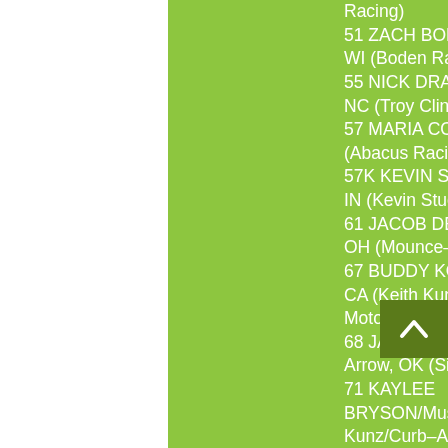Racing)
51 ZACH BODEN/Cambridge, WI (Boden Racing)
55 NICK DRAKE/Mooresville, NC (Troy Cline)
57 MARIA COFER/Macdoel, CA (Abacus Racing)
57K KEVIN STUDLEY/Plainfield, IN (Kevin Studley)
61 JACOB DENNEY/Galloway, OH (Mounce-Stout Motorsports)
67 BUDDY KOFOID/Penngrove, CA (Keith Kunz/Curb-Agajanian Motorsports)
68 JASON McDOUGAL/Broken Arrow, OK (Six8 Motorsports)
71 KAYLEE BRYSON/Muskogee, OK (Keith Kunz/Curb-Agajanian Motorsports)
71E MARIAH EDE/Fresno, CA (Keith Kunz/Curb-Agajanian Motorsports)
71K DOMINIC GORDEN/Clovis, CA (Keith